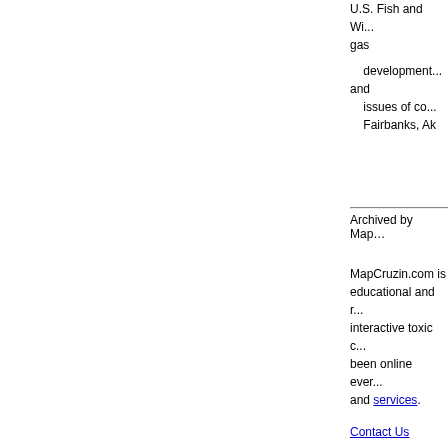U.S. Fish and Wi... gas
development... and
issues of co... Fairbanks, Ak
Archived by MapC...
MapCruzin.com is... educational and r... interactive toxic c... been online ever... and services.
Contact Us
Report Broken Li...
About MapCruzin - Cookies, Priva...
Copyright © 19... MapCruzin is a Pop-...